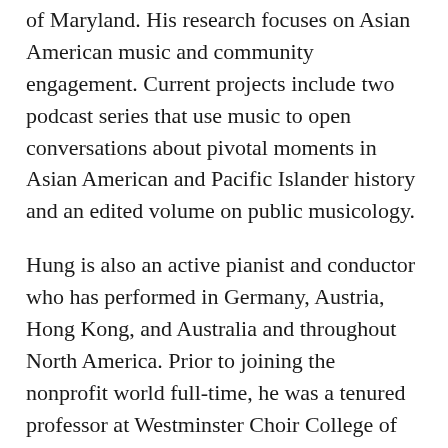of Maryland. His research focuses on Asian American music and community engagement. Current projects include two podcast series that use music to open conversations about pivotal moments in Asian American and Pacific Islander history and an edited volume on public musicology.
Hung is also an active pianist and conductor who has performed in Germany, Austria, Hong Kong, and Australia and throughout North America. Prior to joining the nonprofit world full-time, he was a tenured professor at Westminster Choir College of Rider University. He is founder of the Westminster Chinese Music Ensemble, and has served as executive director and interim president of New York–based Gamelan Dharma Swara. For the Philadelphia Asian American Film Festival, he is the Grant Writer, Conference Chair, and a member of the Program Committee. Hung holds